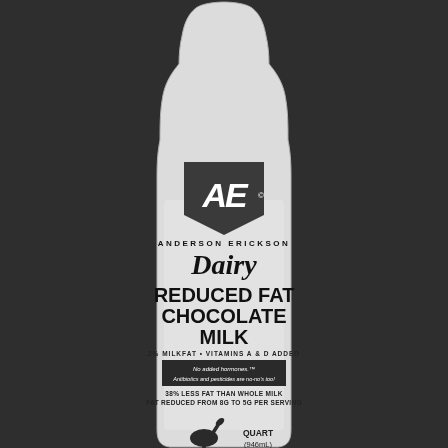[Figure (photo): Anderson Erickson Dairy Reduced Fat Chocolate Milk bottle, quart size (946mL), 2% milkfat with Vitamins A & D Added. Black and white photograph of a white plastic/glass milk bottle with the AE Dairy brand label visible. The label shows the AE logo in a dark pentagon/shield shape, brand name Anderson Erickson Dairy in spaced letters, Dairy in italic script, REDUCED FAT CHOCOLATE MILK in large bold text, 2% MILKFAT - VITAMINS A & D ADDED, a dark banner reading 'No added hormones. Antibiotics and pesticides are no-no's too!', and '38% LESS FAT THAN WHOLE MILK FAT REDUCED FROM 8G TO 5G PER SERVING'. A spoon graphic and QUART (946mL) appear at the bottom.]